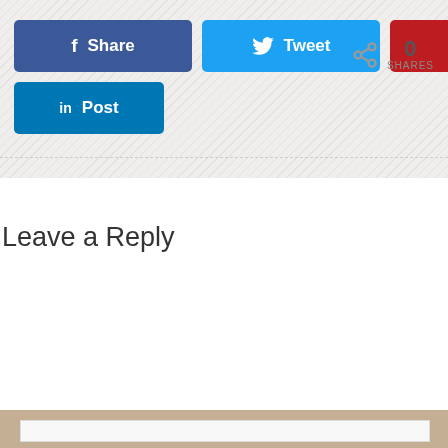[Figure (screenshot): Social share buttons: Facebook Share, Twitter Tweet, Pinterest Pin, LinkedIn Post]
0 SHARES
Leave a Reply